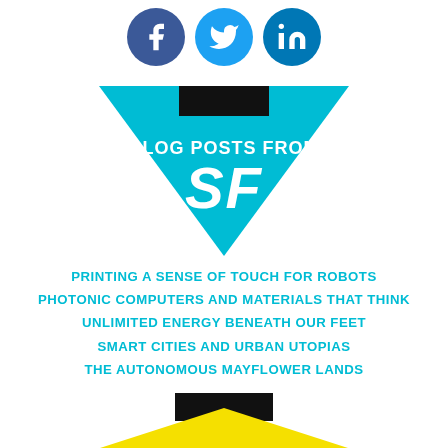[Figure (infographic): Social media icons: Facebook (blue circle), Twitter (light blue circle), LinkedIn (dark blue circle)]
[Figure (infographic): Blue downward-pointing triangle with black rectangle at top, text 'BLOG POSTS FROM' and large 'SF' lettering in white]
PRINTING A SENSE OF TOUCH FOR ROBOTS
PHOTONIC COMPUTERS AND MATERIALS THAT THINK
UNLIMITED ENERGY BENEATH OUR FEET
SMART CITIES AND URBAN UTOPIAS
THE AUTONOMOUS MAYFLOWER LANDS
[Figure (infographic): Bottom graphic with black rectangle and yellow triangle/bar beginning to appear at bottom edge]